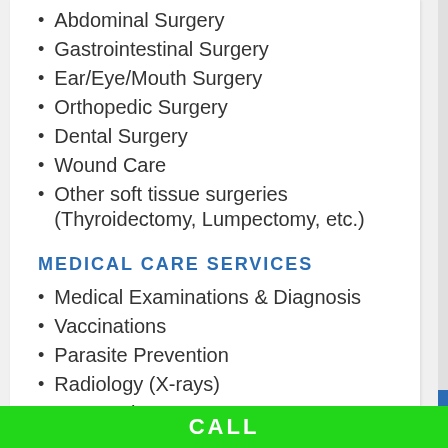Abdominal Surgery
Gastrointestinal Surgery
Ear/Eye/Mouth Surgery
Orthopedic Surgery
Dental Surgery
Wound Care
Other soft tissue surgeries (Thyroidectomy, Lumpectomy, etc.)
MEDICAL CARE SERVICES
Medical Examinations & Diagnosis
Vaccinations
Parasite Prevention
Radiology (X-rays)
Dermatology
CALL